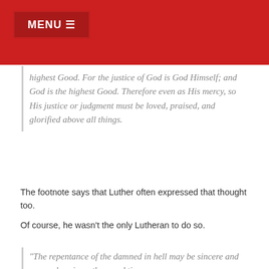MENU
highest Good. For the justice of God is God Himself; and God is the highest Good. Therefore even as His mercy, so His justice or judgment must be loved, praised, and glorified above all things.
The footnote says that Luther often expressed that thought too.
Of course, he wasn't the only Lutheran to do so.
"The repentance of the damned in hell may be sincere and comprehensive a thousand times